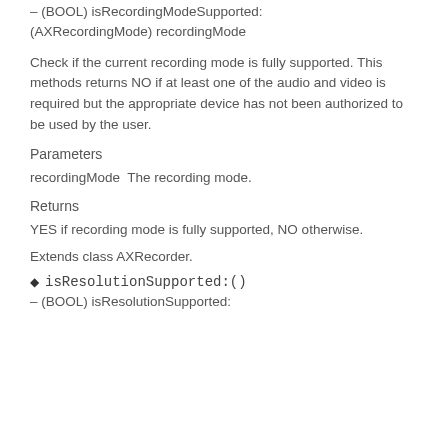– (BOOL) isRecordingModeSupported: (AXRecordingMode) recordingMode
Check if the current recording mode is fully supported. This methods returns NO if at least one of the audio and video is required but the appropriate device has not been authorized to be used by the user.
Parameters
recordingMode The recording mode.
Returns
YES if recording mode is fully supported, NO otherwise.
Extends class AXRecorder.
◆ isResolutionSupported:()
– (BOOL) isResolutionSupported: